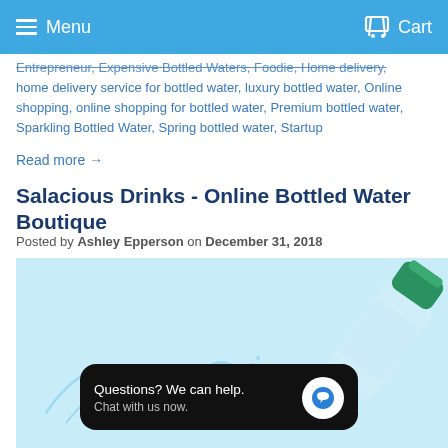Menu  Cart
Entrepreneur, Expensive Bottled Waters, Foodie, Home delivery, home delivery service for bottled water, luxury bottled water, Online shopping, online shopping for bottled water, Premium bottled water, Sparkling Bottled Water, Spring bottled water, Startup
Read more →
Salacious Drinks - Online Bottled Water Boutique
Posted by Ashley Epperson on December 31, 2018
[Figure (photo): A green-capped water bottle pouring water with a dramatic splash, on a light blue background. A chat widget overlay reads 'Questions? We can help. Chat with us now.' with a blue speech bubble icon.]